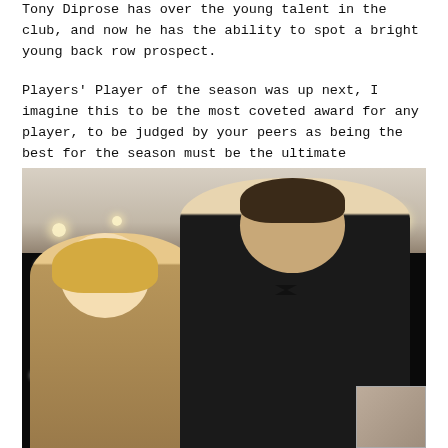Tony Diprose has over the young talent in the club, and now he has the ability to spot a bright young back row prospect.
Players' Player of the season was up next, I imagine this to be the most coveted award for any player, to be judged by your peers as being the best for the season must be the ultimate accolade. Luke Wallace was again the recipient, he made his way back to the stage to great applause.
[Figure (photo): Photo of two people (a woman with blonde hair and a man in a tuxedo with bow tie) posing together at a formal event with a black bokeh/fairy-light backdrop. A small thumbnail image appears in the bottom right corner.]